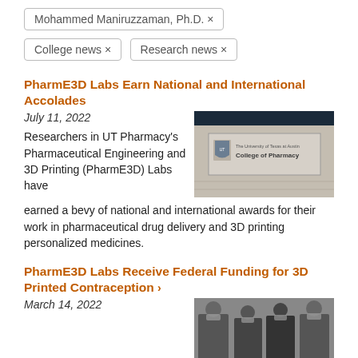Mohammed Maniruzzaman, Ph.D. ×
College news ×   Research news ×
PharmE3D Labs Earn National and International Accolades
July 11, 2022
[Figure (photo): Sign reading 'The University of Texas at Austin College of Pharmacy' on a brick wall]
Researchers in UT Pharmacy's Pharmaceutical Engineering and 3D Printing (PharmE3D) Labs have earned a bevy of national and international awards for their work in pharmaceutical drug delivery and 3D printing personalized medicines.
PharmE3D Labs Receive Federal Funding for 3D Printed Contraception >
March 14, 2022
[Figure (photo): Group photo of researchers wearing masks]